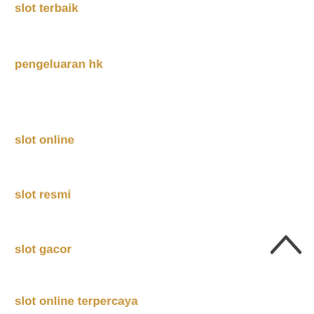slot terbaik
pengeluaran hk
slot online
slot resmi
slot gacor
slot online terpercaya
[Figure (other): Back to top chevron arrow icon]